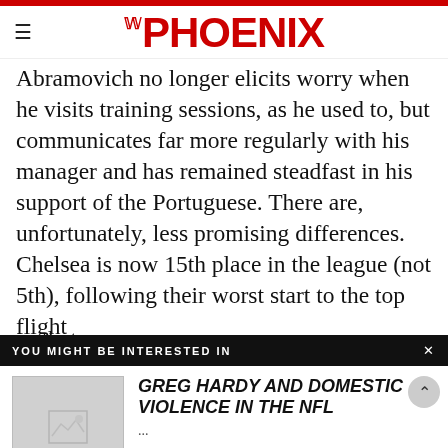THE PHOENIX
Abramovich no longer elicits worry when he visits training sessions, as he used to, but communicates far more regularly with his manager and has remained steadfast in his support of the Portuguese. There are, unfortunately, less promising differences. Chelsea is now 15th place in the league (not 5th), following their worst start to the top flight
YOU MIGHT BE INTERESTED IN
[Figure (other): Thumbnail image placeholder with image icon]
GREG HARDY AND DOMESTIC VIOLENCE IN THE NFL
...
assign blame , Lampard, in '07.
es that prompted the odds of him leaving to tumble from 12-1 to 5-2 and inspire genuine worry in